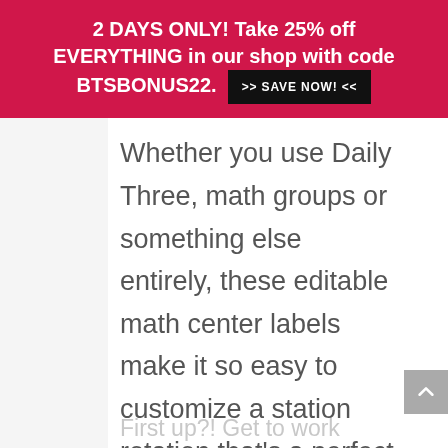2 DAYS ONLY! Take 25% off EVERYTHING in our shop with code BTSBONUS22. >> SAVE NOW! <<
Whether you use Daily Three, math groups or something else entirely, these editable math center labels make it so easy to customize a station rotation that's a perfect fit for your classroom.
First up?! Get to work